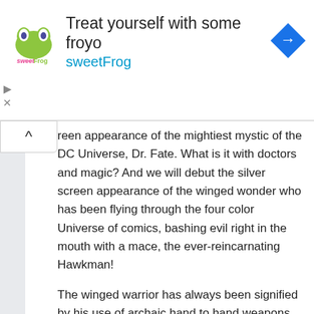[Figure (screenshot): SweetFrog advertisement banner with logo, headline 'Treat yourself with some froyo', subtext 'sweetFrog', and a blue navigation arrow icon on the right]
reen appearance of the mightiest mystic of the DC Universe, Dr. Fate. What is it with doctors and magic? And we will debut the silver screen appearance of the winged wonder who has been flying through the four color Universe of comics, bashing evil right in the mouth with a mace, the ever-reincarnating Hawkman!
The winged warrior has always been signified by his use of archaic hand to hand weapons, though modern versions have him also being an alien law enforcement officer from the planet Thanagar. Carter Hall, or Katar Hol will be played by Aldis Hodge and the images look amazing.
NO SUPERMAN, BATMAN OR